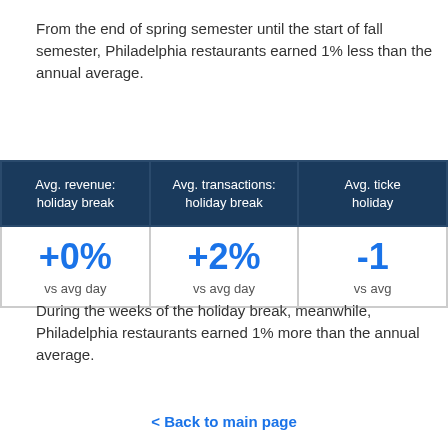From the end of spring semester until the start of fall semester, Philadelphia restaurants earned 1% less than the annual average.
| Avg. revenue: holiday break | Avg. transactions: holiday break | Avg. ticket: holiday [break] |
| --- | --- | --- |
| +0%
vs avg day | +2%
vs avg day | -1%
vs avg [day] |
During the weeks of the holiday break, meanwhile, Philadelphia restaurants earned 1% more than the annual average.
< Back to main page